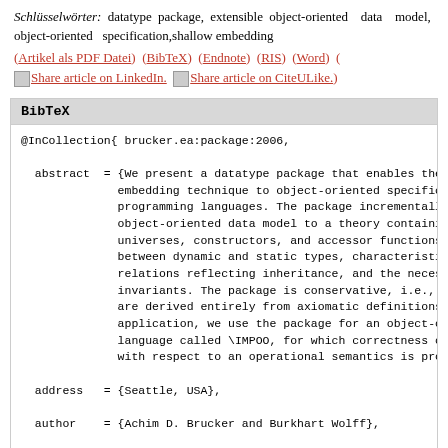Schlüsselwörter: datatype package, extensible object-oriented data model, object-oriented specification,shallow embedding
(Artikel als PDF Datei)  (BibTeX)  (Endnote)  (RIS)  (Word)  (
[img]Share article on LinkedIn.  [img]Share article on CiteULike.)
BibTeX
@InCollection{ brucker.ea:package:2006,
  abstract  = {We present a datatype package that enables the use of shal...
              embedding technique to object-oriented specification ...
              programming languages. The package incrementally compiles...
              object-oriented data model to a theory containing obje...
              universes, constructors, and accessor functions, coerc...
              between dynamic and static types, characteristic sets, th...
              relations reflecting inheritance, and the necessary cl...
              invariants. The package is conservative, i.e., all propert...
              are derived entirely from axiomatic definitions. As...
              application, we use the package for an object-oriented co...
              language called \IMPOO, for which correctness of a Hoare lo...
              with respect to an operational semantics is proven.},
  address   = {Seattle, USA},
  author    = {Achim D. Brucker and Burkhart Wolff},
  booktitle = {International Workshop on Software Verification ...
              Validation (SVV 2006)},
  editor    = {Abhik Roychoudhury and Zijiang Yang},